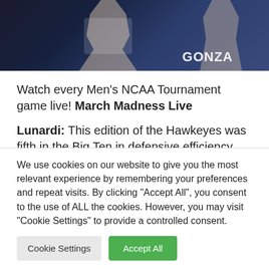[Figure (photo): Basketball players in Gonzaga jerseys during NCAA Tournament]
Watch every Men's NCAA Tournament game live! March Madness Live
Lunardi: This edition of the Hawkeyes was fifth in the Big Ten in defensive efficiency according to KenPom. That seemed to go out
We use cookies on our website to give you the most relevant experience by remembering your preferences and repeat visits. By clicking "Accept All", you consent to the use of ALL the cookies. However, you may visit "Cookie Settings" to provide a controlled consent.